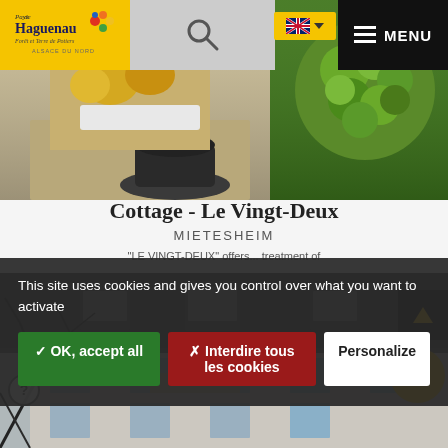[Figure (screenshot): Website screenshot of Pays de Haguenau tourism site showing a cottage listing page with cookie consent overlay. Top navigation includes logo, search, language selector and menu. Two photos at top show interior items and green moss decoration. Title shows 'Cottage - Le Vingt-Deux' in Mietesheim. Cookie consent dialog with accept, refuse and personalize buttons overlays the content. Bottom shows exterior photo of building.]
Pays de Haguenau - Forêt et Terre de Potiers - Alsace du Nord
Cottage - Le Vingt-Deux
MIETESHEIM
"LE VINGT-DEUX" offers... treatment of
This site uses cookies and gives you control over what you want to activate
✓ OK, accept all
✗ Interdire tous les cookies
Personalize